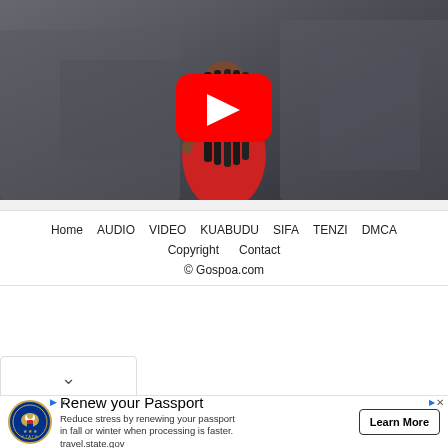[Figure (screenshot): YouTube video thumbnail showing a woman in a red dress with braided hair, raising one finger, with a rocky/earthy background. A red YouTube play button overlay is centered on the image.]
Home  AUDIO  VIDEO  KUABUDU  SIFA  TENZI  DMCA  Copyright  Contact
© Gospoa.com
[Figure (screenshot): Dropdown chevron/arrow UI element]
Renew your Passport
Reduce stress by renewing your passport in fall or winter when processing is faster. travel.state.gov